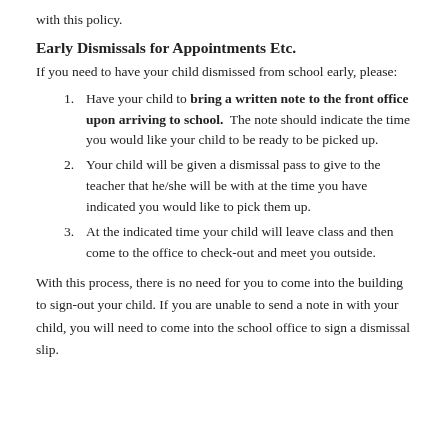with this policy.
Early Dismissals for Appointments Etc.
If you need to have your child dismissed from school early, please:
Have your child to bring a written note to the front office upon arriving to school. The note should indicate the time you would like your child to be ready to be picked up.
Your child will be given a dismissal pass to give to the teacher that he/she will be with at the time you have indicated you would like to pick them up.
At the indicated time your child will leave class and then come to the office to check-out and meet you outside.
With this process, there is no need for you to come into the building to sign-out your child. If you are unable to send a note in with your child, you will need to come into the school office to sign a dismissal slip.